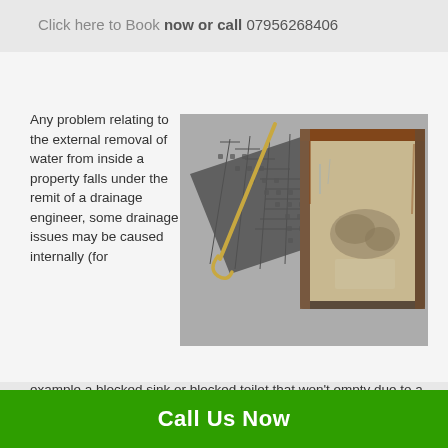Click here to Book now or call 07956268406
[Figure (photo): An open drain/manhole cover lifted to the side, revealing a blocked or partially filled drainage chamber below, set in a concrete/tarmac surface.]
Any problem relating to the external removal of water from inside a property falls under the remit of a drainage engineer, some drainage issues may be caused internally (for example a blocked sink or blocked toilet that won't empty due to a backlog from a blocked drain), the cause of the problem will
Call Us Now